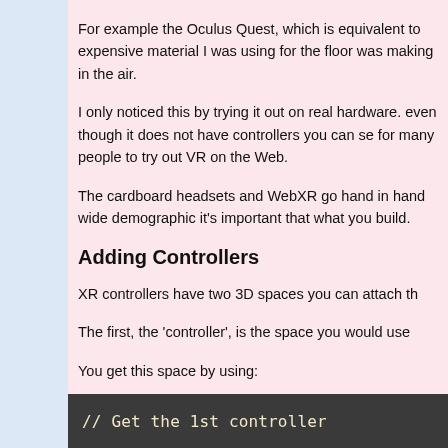For example the Oculus Quest, which is equivalent to expensive material I was using for the floor was making in the air.
I only noticed this by trying it out on real hardware. even though it does not have controllers you can se for many people to try out VR on the Web.
The cardboard headsets and WebXR go hand in hand wide demographic it's important that what you build.
Adding Controllers
XR controllers have two 3D spaces you can attach th
The first, the 'controller', is the space you would use
You get this space by using:
[Figure (screenshot): Dark code block showing: // Get the 1st controller]